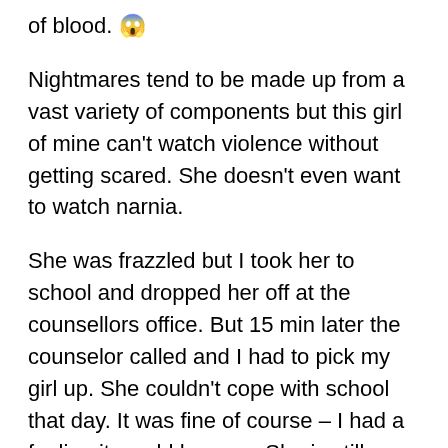of blood. 😱
Nightmares tend to be made up from a vast variety of components but this girl of mine can't watch violence without getting scared. She doesn't even want to watch narnia.
She was frazzled but I took her to school and dropped her off at the counsellors office. But 15 min later the counselor called and I had to pick my girl up. She couldn't cope with school that day. It was fine of course – I had a feeling it would happen. She is still incredibly afraid of her Japanese teacher as well as the Japanese language.